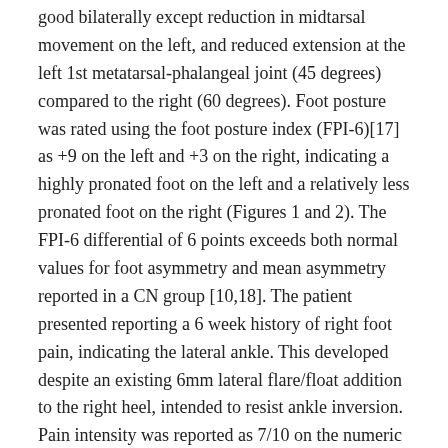good bilaterally except reduction in midtarsal movement on the left, and reduced extension at the left 1st metatarsal-phalangeal joint (45 degrees) compared to the right (60 degrees). Foot posture was rated using the foot posture index (FPI-6)[17] as +9 on the left and +3 on the right, indicating a highly pronated foot on the left and a relatively less pronated foot on the right (Figures 1 and 2). The FPI-6 differential of 6 points exceeds both normal values for foot asymmetry and mean asymmetry reported in a CN group [10,18]. The patient presented reporting a 6 week history of right foot pain, indicating the lateral ankle. This developed despite an existing 6mm lateral flare/float addition to the right heel, intended to resist ankle inversion. Pain intensity was reported as 7/10 on the numeric rating scale (NRS 11).